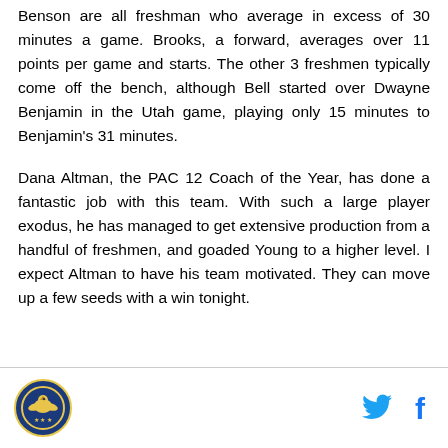Benson are all freshman who average in excess of 30 minutes a game. Brooks, a forward, averages over 11 points per game and starts. The other 3 freshmen typically come off the bench, although Bell started over Dwayne Benjamin in the Utah game, playing only 15 minutes to Benjamin's 31 minutes.
Dana Altman, the PAC 12 Coach of the Year, has done a fantastic job with this team. With such a large player exodus, he has managed to get extensive production from a handful of freshmen, and goaded Young to a higher level. I expect Altman to have his team motivated. They can move up a few seeds with a win tonight.
[Logo] [Twitter icon] [Facebook icon]